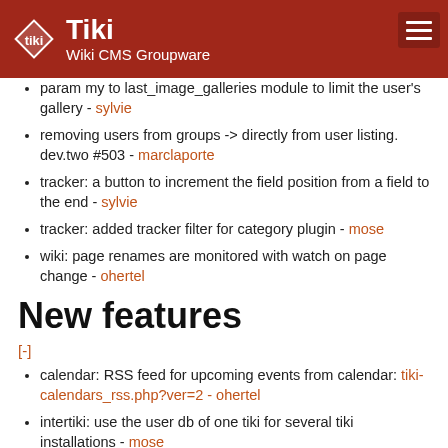Tiki Wiki CMS Groupware
param my to last_image_galleries module to limit the user's gallery - sylvie
removing users from groups -> directly from user listing. dev.two #503 - marclaporte
tracker: a button to increment the field position from a field to the end - sylvie
tracker: added tracker filter for category plugin - mose
wiki: page renames are monitored with watch on page change - ohertel
New features
[-]
calendar: RSS feed for upcoming events from calendar: tiki-calendars_rss.php?ver=2 - ohertel
intertiki: use the user db of one tiki for several tiki installations - mose